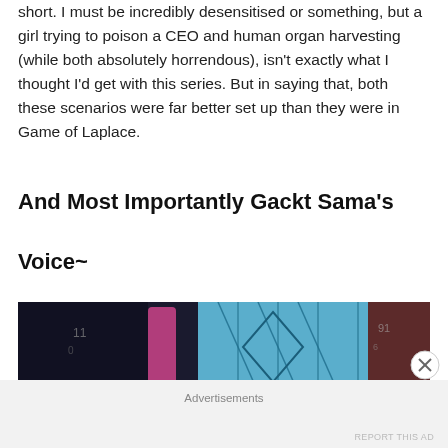short. I must be incredibly desensitised or something, but a girl trying to poison a CEO and human organ harvesting (while both absolutely horrendous), isn't exactly what I thought I'd get with this series. But in saying that, both these scenarios were far better set up than they were in Game of Laplace.
And Most Importantly Gackt Sama's Voice~
[Figure (screenshot): Dark anime screenshot showing a blue geometric background with figures]
Advertisements